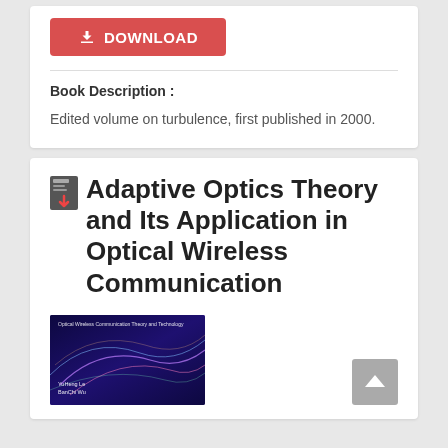[Figure (other): Red download button with download icon and text DOWNLOAD]
Book Description :
Edited volume on turbulence, first published in 2000.
Adaptive Optics Theory and Its Application in Optical Wireless Communication
[Figure (photo): Book cover for Adaptive Optics Theory and Its Application in Optical Wireless Communication, dark blue/purple background with light streaks]